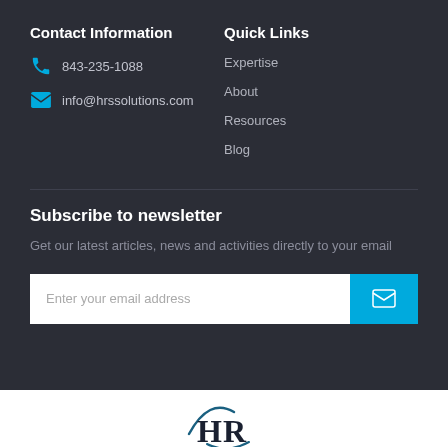Contact Information
843-235-1088
info@hrssolutions.com
Quick Links
Expertise
About
Resources
Blog
Subscribe to newsletter
Get our latest articles, news and activities directly to your email
Enter your email address
[Figure (logo): HR Solutions logo — stylized HR letters with a curved arc]